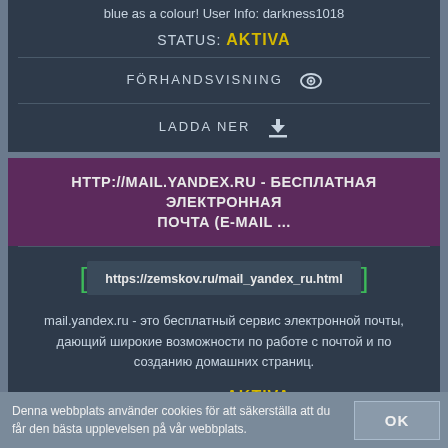blue as a colour! User Info: darkness1018
STATUS: AKTIVA
FÖRHANDSVISNING 👁
LADDA NER ⬇
HTTP://MAIL.YANDEX.RU - БЕСПЛАТНАЯ ЭЛЕКТРОННАЯ ПОЧТА (E-MAIL ...
https://zemskov.ru/mail_yandex_ru.html
mail.yandex.ru - это бесплатный сервис электронной почты, дающий широкие возможности по работе с почтой и по созданию домашних страниц.
STATUS: AKTIVA
Denna webbplats använder cookies för att säkerställa att du får den bästa upplevelsen på vår webbplats.